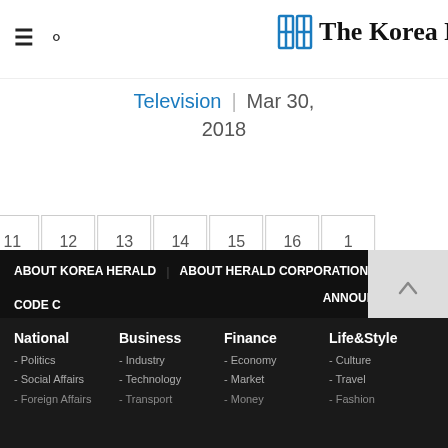The Korea Herald — Television | Mar 30, 2018
Television  |  Mar 30, 2018
« < 11 12 13 14 15 16 1…
ABOUT KOREA HERALD | ABOUT HERALD CORPORATION | CODE … | ANNOUNCEMENTS
National - Politics - Social Affairs - Foreign Affairs
Business - Industry - Technology - Transport
Finance - Economy - Market - Money
Life&Style - Culture - Travel - Fashion